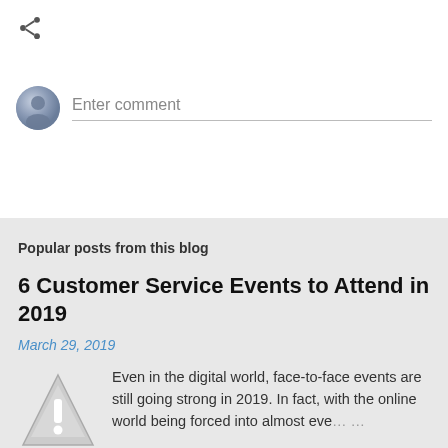[Figure (illustration): Share icon (less-than symbol style share icon) in dark gray]
Enter comment
Popular posts from this blog
6 Customer Service Events to Attend in 2019
March 29, 2019
[Figure (illustration): Warning triangle icon with exclamation mark, gray colored]
Even in the digital world, face-to-face events are still going strong in 2019. In fact, with the online world being forced into almost eve…